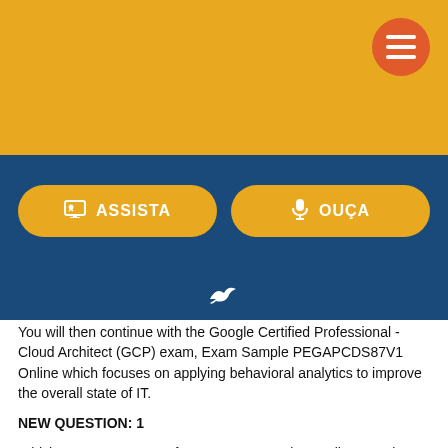[Figure (screenshot): Gold header bar with orange circular hamburger menu button in top right]
[Figure (screenshot): Dark blue navigation bar with two yellow buttons labeled ASSISTA and OUÇA with icons, and a small bird icon below]
You will then continue with the Google Certified Professional - Cloud Architect (GCP) exam, Exam Sample PEGAPCDS87V1 Online which focuses on applying behavioral analytics to improve the overall state of IT.
NEW QUESTION: 1
Which two components of Symantec Control Compliance Suite 9.0 must be deployed in an Active Directory domain? (Select two.)
A. application server
B. web portal server
C. Production database
D. Data Processing Service